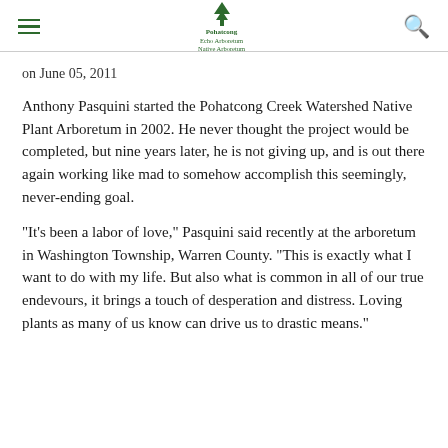Pohatcong Echo Arboretum Native Arboretum (logo and navigation)
on June 05, 2011
Anthony Pasquini started the Pohatcong Creek Watershed Native Plant Arboretum in 2002. He never thought the project would be completed, but nine years later, he is not giving up, and is out there again working like mad to somehow accomplish this seemingly, never-ending goal.
"It's been a labor of love," Pasquini said recently at the arboretum in Washington Township, Warren County. "This is exactly what I want to do with my life. But also what is common in all of our true endevours, it brings a touch of desperation and distress. Loving plants as many of us know can drive us to drastic means."